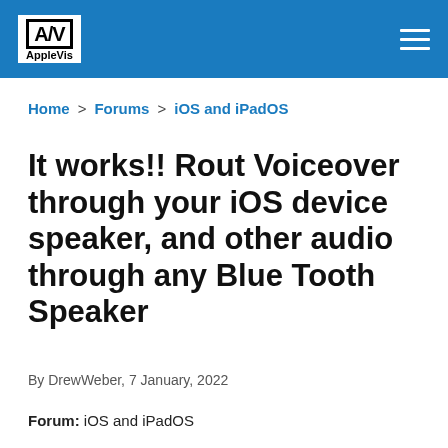AppleVis
Home > Forums > iOS and iPadOS
It works!! Rout Voiceover through your iOS device speaker, and other audio through any Blue Tooth Speaker
By DrewWeber, 7 January, 2022
Forum: iOS and iPadOS